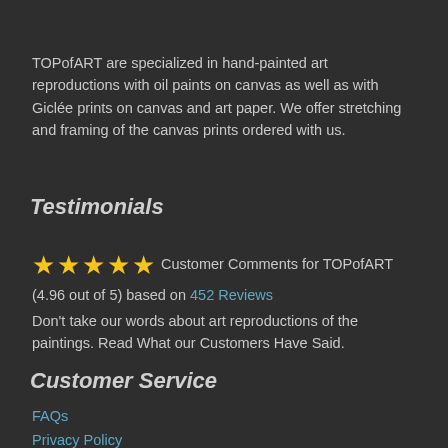TOPofART are specialized in hand-painted art reproductions with oil paints on canvas as well as with Giclée prints on canvas and art paper. We offer stretching and framing of the canvas prints ordered with us.
Testimonials
★★★★★ Customer Comments for TOPofART (4.96 out of 5) based on 452 Reviews
Don't take our words about art reproductions of the paintings. Read What our Customers Have Said.
Customer Service
FAQs
Privacy Policy